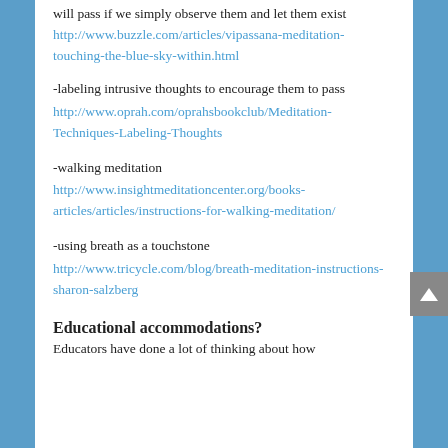will pass if we simply observe them and let them exist http://www.buzzle.com/articles/vipassana-meditation-touching-the-blue-sky-within.html
-labeling intrusive thoughts to encourage them to pass http://www.oprah.com/oprahsbookclub/Meditation-Techniques-Labeling-Thoughts
-walking meditation http://www.insightmeditationcenter.org/books-articles/articles/instructions-for-walking-meditation/
-using breath as a touchstone http://www.tricycle.com/blog/breath-meditation-instructions-sharon-salzberg
Educational accommodations?
Educators have done a lot of thinking about how